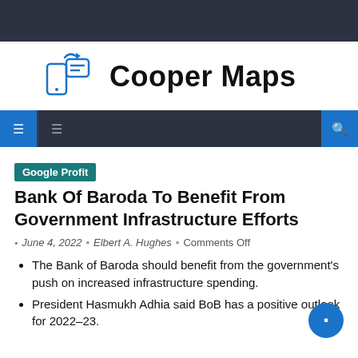[Figure (logo): Cooper Maps logo with phone and transfer icon in blue, followed by bold text 'Cooper Maps']
Navigation bar with icons
Google Profit
Bank Of Baroda To Benefit From Government Infrastructure Efforts
June 4, 2022 | Elbert A. Hughes | Comments Off
The Bank of Baroda should benefit from the government's push on increased infrastructure spending.
President Hasmukh Adhia said BoB has a positive outlook for 2022–23.